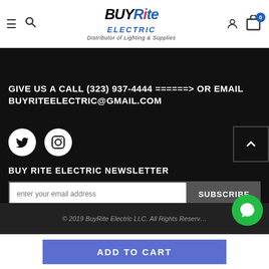BuyRite Electric — Distributor of Lighting & Supplies
MY ORDER
GIVE US A CALL (323) 937-4444 ======> OR EMAIL BUYRITEELECTRIC@GMAIL.COM
[Figure (illustration): Twitter and Instagram social media icons as white circles on dark background]
BUY RITE ELECTRIC NEWSLETTER
enter your email address
SUBSCRIBE
© 2019 BuyRite Electric LLC. All Rights Reserved
ADD TO CART